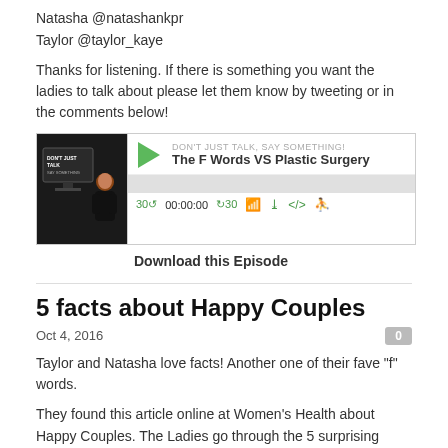Natasha @natashankpr
Taylor @taylor_kaye
Thanks for listening. If there is something you want the ladies to talk about please let them know by tweeting or in the comments below!
[Figure (screenshot): Podcast player widget for 'The F Words VS Plastic Surgery' episode on the 'Don't Just Talk, Say Something!' show, with play button, progress bar, and playback controls.]
Download this Episode
5 facts about Happy Couples
Oct 4, 2016
Taylor and Natasha love facts! Another one of their fave "f" words.
They found this article online at Women's Health about Happy Couples. The Ladies go through the 5 surprising facts about Happy Couples. Do you agree with the article? With Natasha and Taylor? What does keep couples happy?